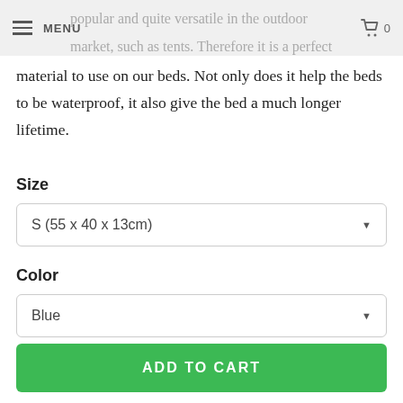MENU | 0
popular and quite versatile in the outdoor market, such as tents. Therefore it is a perfect material to use on our beds. Not only does it help the beds to be waterproof, it also give the bed a much longer lifetime.
Size
S (55 x 40 x 13cm)
Color
Blue
ADD TO CART